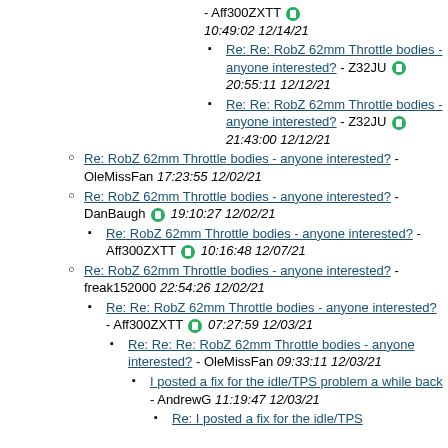- Aff300ZXTT 10:49:02 12/14/21
Re: Re: RobZ 62mm Throttle bodies - anyone interested? - Z32JU 20:55:11 12/12/21
Re: Re: RobZ 62mm Throttle bodies - anyone interested? - Z32JU 21:43:00 12/12/21
Re: RobZ 62mm Throttle bodies - anyone interested? - OleMissFan 17:23:55 12/02/21
Re: RobZ 62mm Throttle bodies - anyone interested? - DanBaugh 19:10:27 12/02/21
Re: RobZ 62mm Throttle bodies - anyone interested? - Aff300ZXTT 10:16:48 12/07/21
Re: RobZ 62mm Throttle bodies - anyone interested? - freak152000 22:54:26 12/02/21
Re: Re: RobZ 62mm Throttle bodies - anyone interested? - Aff300ZXTT 07:27:59 12/03/21
Re: Re: Re: RobZ 62mm Throttle bodies - anyone interested? - OleMissFan 09:33:11 12/03/21
I posted a fix for the idle/TPS problem a while back - AndrewG 11:19:47 12/03/21
Re: I posted a fix for the idle/TPS